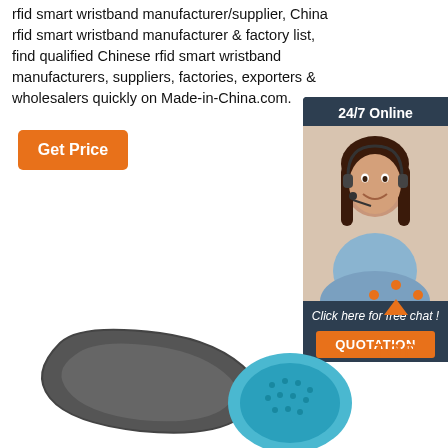rfid smart wristband manufacturer/supplier, China rfid smart wristband manufacturer & factory list, find qualified Chinese rfid smart wristband manufacturers, suppliers, factories, exporters & wholesalers quickly on Made-in-China.com.
Get Price
[Figure (infographic): 24/7 Online chat widget with a customer service representative woman wearing a headset, dark blue background, with 'Click here for free chat!' text and an orange QUOTATION button.]
[Figure (infographic): Orange TOP button with arrow/triangle pointing up and orange dots above it, indicating scroll to top.]
[Figure (photo): RFID smart wristbands — a grey/dark silicone wristband with holes and a blue round wristband with dot pattern.]